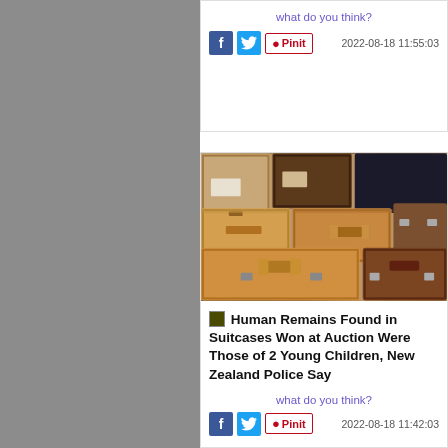what do you think?
2022-08-18 11:55:03
[Figure (photo): Stack of vintage suitcases and luggage cases piled together in various colors including tan, brown, and dark tones]
Human Remains Found in Suitcases Won at Auction Were Those of 2 Young Children, New Zealand Police Say
what do you think?
2022-08-18 11:42:03